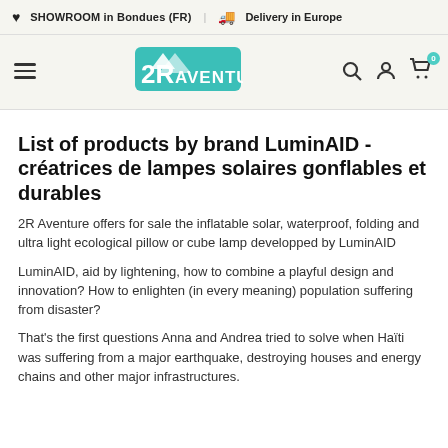SHOWROOM in Bondues (FR) | Delivery in Europe
[Figure (logo): 2R Aventure logo in teal/green with mountain peaks]
List of products by brand LuminAID - créatrices de lampes solaires gonflables et durables
2R Aventure offers for sale the inflatable solar, waterproof, folding and ultra light ecological pillow or cube lamp developped by LuminAID
LuminAID, aid by lightening, how to combine a playful design and innovation? How to enlighten (in every meaning) population suffering from disaster?
That's the first questions Anna and Andrea tried to solve when Haïti was suffering from a major earthquake, destroying houses and energy chains and other major infrastructures.